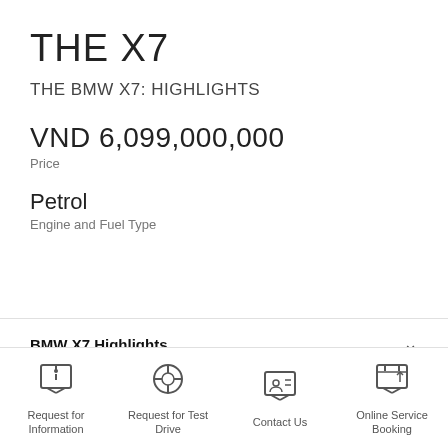THE X7
THE BMW X7: HIGHLIGHTS
VND 6,099,000,000
Price
Petrol
Engine and Fuel Type
BMW X7 Highlights
Request for Information | Request for Test Drive | Contact Us | Online Service Booking